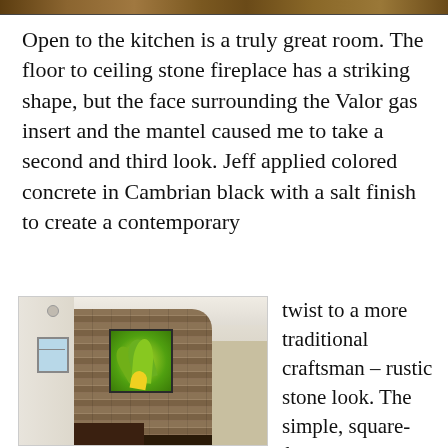[Figure (photo): Top strip showing a partial photo (likely a landscape or room), cropped to a narrow horizontal band at the top of the page.]
Open to the kitchen is a truly great room. The floor to ceiling stone fireplace has a striking shape, but the face surrounding the Valor gas insert and the mantel caused me to take a second and third look. Jeff applied colored concrete in Cambrian black with a salt finish to create a contemporary
[Figure (photo): Photo of a floor-to-ceiling stone fireplace with a striking angled top shape; a square-framed aloe print hangs above the dark mantel; the stone has horizontal layering in earthy brown and tan tones; a small window is visible to the left.]
twist to a more traditional craftsman – rustic stone look. The simple, square-framed aloe  print above the mantel is an attractive choice. Again, not an expected compositi